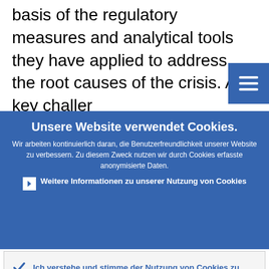basis of the regulatory measures and analytical tools they have applied to address the root causes of the crisis. A key challer
Unsere Website verwendet Cookies.
Wir arbeiten kontinuierlich daran, die Benutzerfreundlichkeit unserer Website zu verbessern. Zu diesem Zweck nutzen wir durch Cookies erfasste anonymisierte Daten.
Weitere Informationen zu unserer Nutzung von Cookies
Ich verstehe und stimme der Nutzung von Cookies zu
Ich stimme der Nutzung von Cookies nicht zu